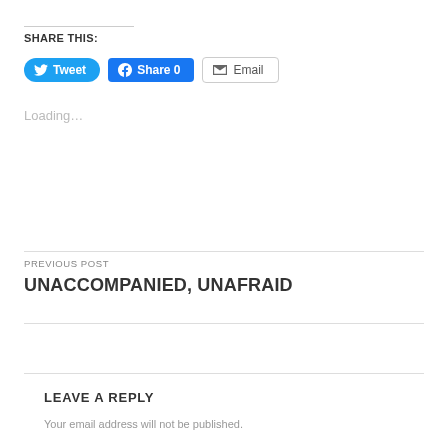SHARE THIS:
[Figure (other): Social share buttons: Tweet (Twitter), Share 0 (Facebook), Email]
Loading…
PREVIOUS POST
UNACCOMPANIED, UNAFRAID
LEAVE A REPLY
Your email address will not be published.